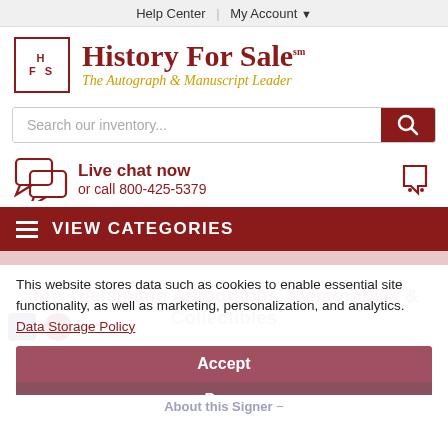Help Center | My Account
[Figure (logo): History For Sale logo with HFS box and serif title text, tagline 'The Autograph & Manuscript Leader']
Search our inventory...
Live chat now
or call 800-425-5379
VIEW CATEGORIES
This website stores data such as cookies to enable essential site functionality, as well as marketing, personalization, and analytics. Data Storage Policy
Accept
Deny
Joe Theismann Autographs, Memorabilia & Collectibles
About this Signer −